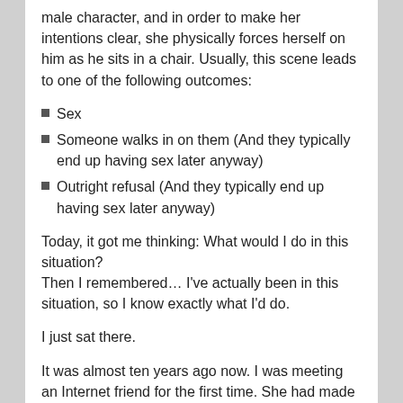male character, and in order to make her intentions clear, she physically forces herself on him as he sits in a chair. Usually, this scene leads to one of the following outcomes:
Sex
Someone walks in on them (And they typically end up having sex later anyway)
Outright refusal (And they typically end up having sex later anyway)
Today, it got me thinking: What would I do in this situation?
Then I remembered… I've actually been in this situation, so I know exactly what I'd do.
I just sat there.
It was almost ten years ago now. I was meeting an Internet friend for the first time. She had made her feelings for me quite clear, but I didn't feel the same for her. I expected some sort of physical display of affection,